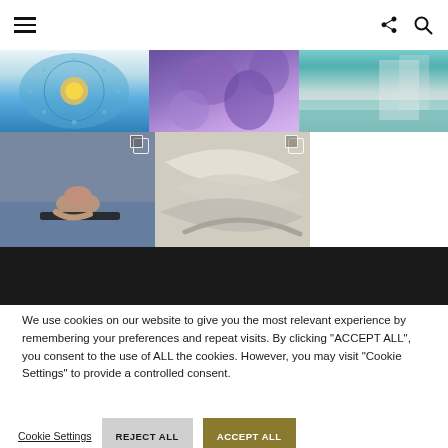[Figure (screenshot): Website header with hamburger menu icon on left and share/search icons on right]
[Figure (photo): Grid of 5 photos: blue lace/mandala art, purple flowers, spa/pool scene, woman relaxing at pool edge, spiral ceiling lamps]
[Figure (photo): Dark black band below photos]
We use cookies on our website to give you the most relevant experience by remembering your preferences and repeat visits. By clicking "ACCEPT ALL", you consent to the use of ALL the cookies. However, you may visit "Cookie Settings" to provide a controlled consent.
Cookie Settings
REJECT ALL
ACCEPT ALL